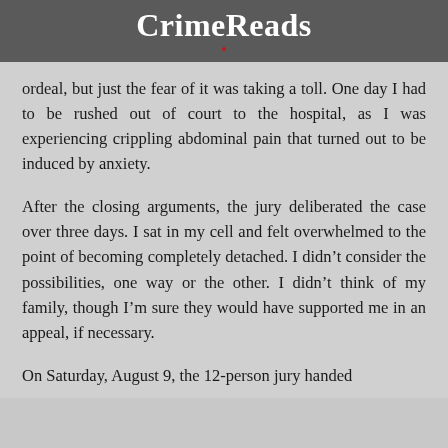CrimeReads
ordeal, but just the fear of it was taking a toll. One day I had to be rushed out of court to the hospital, as I was experiencing crippling abdominal pain that turned out to be induced by anxiety.
After the closing arguments, the jury deliberated the case over three days. I sat in my cell and felt overwhelmed to the point of becoming completely detached. I didn’t consider the possibilities, one way or the other. I didn’t think of my family, though I’m sure they would have supported me in an appeal, if necessary.
On Saturday, August 9, the 12-person jury handed